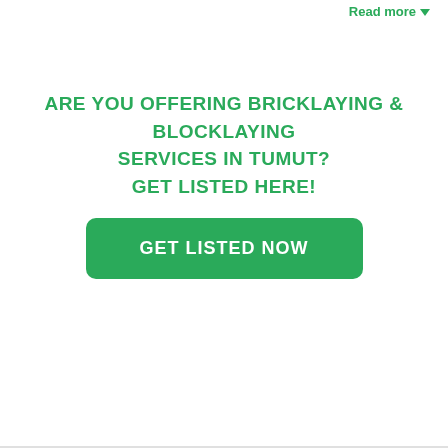Read more
ARE YOU OFFERING BRICKLAYING & BLOCKLAYING SERVICES IN TUMUT?
GET LISTED HERE!
GET LISTED NOW